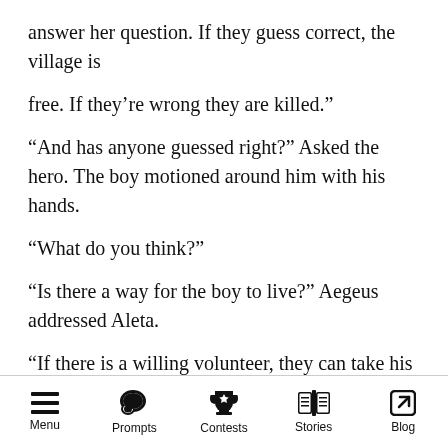answer her question. If they guess correct, the village is
free. If they’re wrong they are killed.”
“And has anyone guessed right?” Asked the hero. The boy motioned around him with his hands.
“What do you think?”
“Is there a way for the boy to live?” Aegeus addressed Aleta.
“If there is a willing volunteer, they can take his place and answer the question.”
Aegeus looked down at the boy. The fear he so obviously felt was masked by a wall of
Menu   Prompts   Contests   Stories   Blog